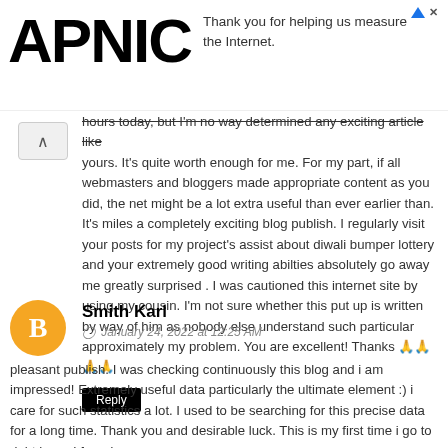APNIC — Thank you for helping us measure the Internet.
hours today, but I'm no way determined any exciting article like yours. It's quite worth enough for me. For my part, if all webmasters and bloggers made appropriate content as you did, the net might be a lot extra useful than ever earlier than. It's miles a completely exciting blog publish. I regularly visit your posts for my project's assist about diwali bumper lottery and your extremely good writing abilties absolutely go away me greatly surprised . I was cautioned this internet site by using my cousin. I'm not sure whether this put up is written by way of him as nobody else understand such particular approximately my problem. You are excellent! Thanks 🙏🙏🙏🙏
Reply
Smith Karl
January 24, 2022 at 12:25 AM
pleasant publish. I was checking continuously this blog and i am impressed! Extremely useful data particularly the ultimate element :) i care for such statistics a lot. I used to be searching for this precise data for a long time. Thank you and desirable luck. This is my first time i go to right here. I found